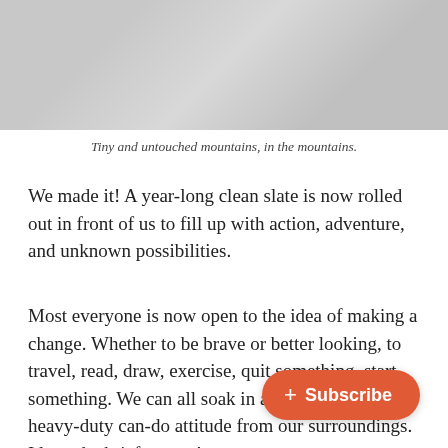[Figure (photo): A light gray textured background photo, likely of a snowy or rocky mountain landscape, cropped at the top of the page.]
Tiny and untouched mountains, in the mountains.
We made it! A year-long clean slate is now rolled out in front of us to fill up with action, adventure, and unknown possibilities.
Most everyone is now open to the idea of making a change. Whether to be brave or better looking, to travel, read, draw, exercise, quit something, start something. We can all soak in a week or so of heavy-duty can-do attitude from our surroundings. I love the brief seas...!